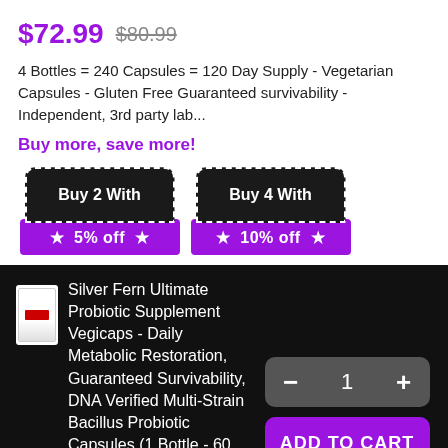$72.99  $80.99
4 Bottles = 240 Capsules = 120 Day Supply - Vegetarian Capsules - Gluten Free Guaranteed survivability - Independent, 3rd party lab...
Buy more, save more!
[Figure (infographic): Two promotional badge graphics: 'Buy 2 With 5% off' and 'Buy 4 With 10% off', each with dark top badge shape and purple bottom ribbon with stars]
Silver Fern Ultimate Probiotic Supplement Vegicaps - Daily Metabolic Restoration, Guaranteed Survivability, DNA Verified Multi-Strain Bacillus Probiotic Capsules (1 Bottle - 60 Capsules)
$72.99  $80.99